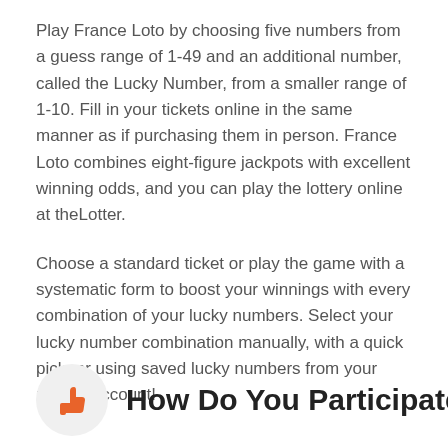Play France Loto by choosing five numbers from a guess range of 1-49 and an additional number, called the Lucky Number, from a smaller range of 1-10. Fill in your tickets online in the same manner as if purchasing them in person. France Loto combines eight-figure jackpots with excellent winning odds, and you can play the lottery online at theLotter.
Choose a standard ticket or play the game with a systematic form to boost your winnings with every combination of your lucky numbers. Select your lucky number combination manually, with a quick pick, or using saved lucky numbers from your private account!
How Do You Participate in